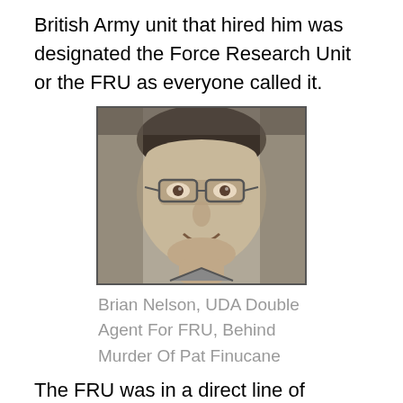British Army unit that hired him was designated the Force Research Unit or the FRU as everyone called it.
[Figure (photo): Black and white photograph of a man wearing glasses, smiling slightly, close-up portrait shot.]
Brian Nelson, UDA Double Agent For FRU, Behind Murder Of Pat Finucane
The FRU was in a direct line of descent from another military intelligence unit called the Military Reaction Force or MRF created to battle the modern IRA. The MRF was the brainchild in 1971 of the British Army's first Brigade Commander of the Troubles in Belfast, General Sir Frank